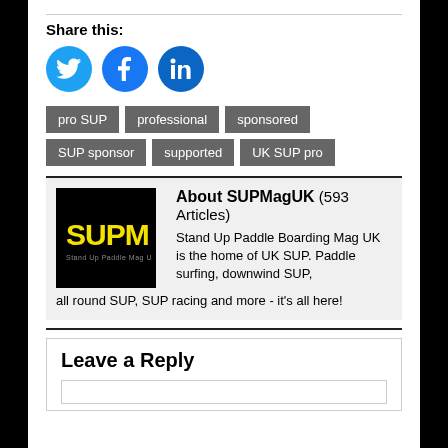Share this:
[Figure (illustration): Three social media icons: Twitter (blue bird), Facebook (blue f), LinkedIn (blue in)]
pro SUP
professional
sponsored
SUP sponsor
supported
UK SUP pro
[Figure (logo): SUPMagUK logo — black square with yellow SUPM text and 'Stand Up Paddle Mag UK' tagline]
About SUPMagUK (593 Articles)
Stand Up Paddle Boarding Mag UK is the home of UK SUP. Paddle surfing, downwind SUP, all round SUP, SUP racing and more - it's all here!
Leave a Reply